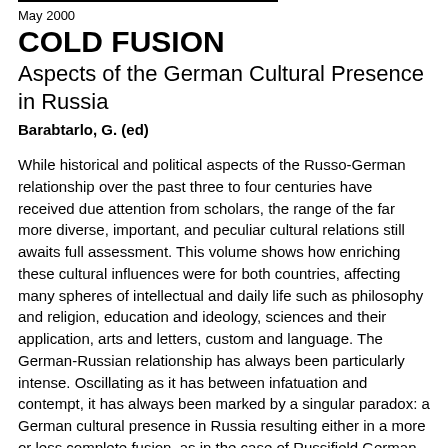May 2000
COLD FUSION
Aspects of the German Cultural Presence in Russia
Barabtarlo, G. (ed)
While historical and political aspects of the Russo-German relationship over the past three to four centuries have received due attention from scholars, the range of the far more diverse, important, and peculiar cultural relations still awaits full assessment. This volume shows how enriching these cultural influences were for both countries, affecting many spheres of intellectual and daily life such as philosophy and religion, education and ideology, sciences and their application, arts and letters, custom and language. The German-Russian relationship has always been particularly intense. Oscillating as it has between infatuation and contempt, it has always been marked by a singular paradox: a German cultural presence in Russia resulting either in a more or less complete fusion, as in the case of Russifield German, or in a pronounced mutual